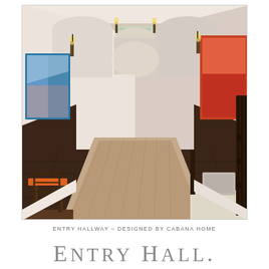[Figure (photo): Interior hallway photo showing a long entry corridor with arched doorways, dark hardwood floors, a runner rug, wall sconces, a bench with pillows on the right, a wooden chair with orange cushion on the left, and colorful artwork. Designed by Cabana Home.]
ENTRY HALLWAY – DESIGNED BY CABANA HOME
ENTRY HALL.